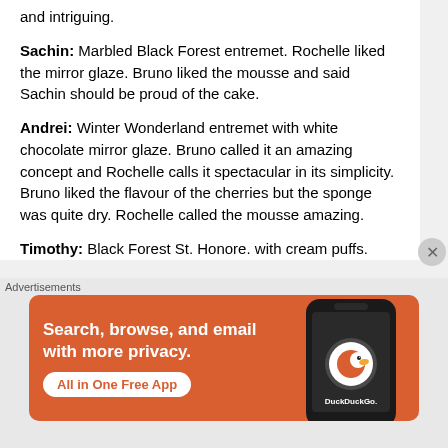and intriguing.
Sachin: Marbled Black Forest entremet. Rochelle liked the mirror glaze. Bruno liked the mousse and said Sachin should be proud of the cake.
Andrei: Winter Wonderland entremet with white chocolate mirror glaze. Bruno called it an amazing concept and Rochelle calls it spectacular in its simplicity. Bruno liked the flavour of the cherries but the sponge was quite dry. Rochelle called the mousse amazing.
Timothy: Black Forest St. Honore. with cream puffs.
[Figure (advertisement): DuckDuckGo ad banner: orange background with phone showing DuckDuckGo app. Text: Search, browse, and email with more privacy. All in One Free App.]